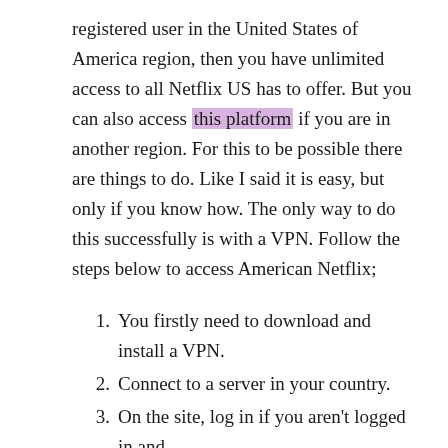registered user in the United States of America region, then you have unlimited access to all Netflix US has to offer. But you can also access this platform if you are in another region. For this to be possible there are things to do. Like I said it is easy, but only if you know how. The only way to do this successfully is with a VPN. Follow the steps below to access American Netflix;
You firstly need to download and install a VPN.
Connect to a server in your country.
On the site, log in if you aren't logged in and select your content.
There are some settings you still have to set up. But they shouldn't give you a problem. With the steps